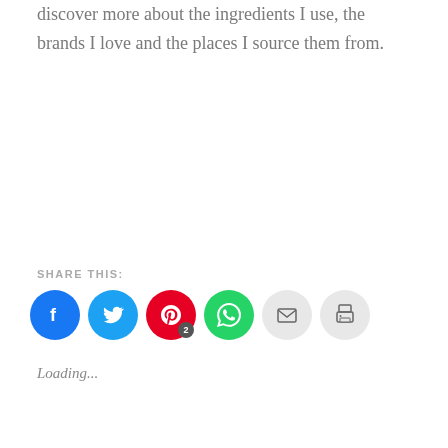discover more about the ingredients I use, the brands I love and the places I source them from.
SHARE THIS:
[Figure (infographic): Social share buttons: Facebook (blue circle with f icon), Twitter (blue circle with bird icon), Pinterest (red circle with P icon and badge 2), WhatsApp (green circle with phone icon), Email (light grey circle with envelope icon), Print (light grey circle with printer icon)]
Loading...